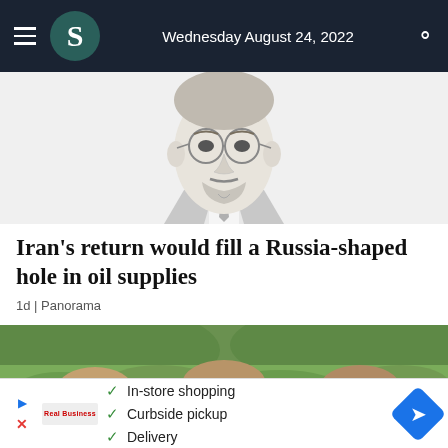Wednesday August 24, 2022
[Figure (illustration): Sketch/line-art illustration of a man with glasses, beard and mustache, wearing a suit — partial face cropped at top]
Iran's return would fill a Russia-shaped hole in oil supplies
1d | Panorama
[Figure (photo): Photo of three people wearing large straw hats in a green field/tea plantation]
In-store shopping
Curbside pickup
Delivery